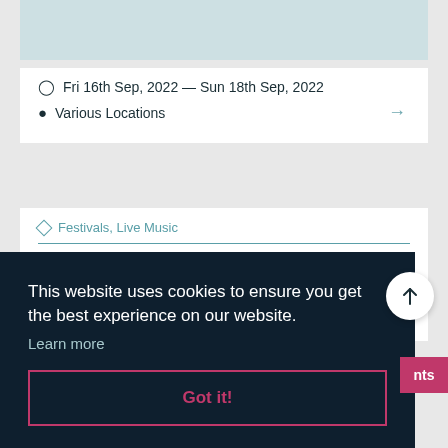[Figure (photo): Light blue/teal image area at the top of the page, partially cropped.]
Fri 16th Sep, 2022 — Sun 18th Sep, 2022
Various Locations
Festivals, Live Music
Crantock Festival
Fri 16th Sep, 2022 — Sun 18th Sep, 2022 (partially obscured)
This website uses cookies to ensure you get the best experience on our website.
Learn more
Got it!
1
2
3
4
5
6
11